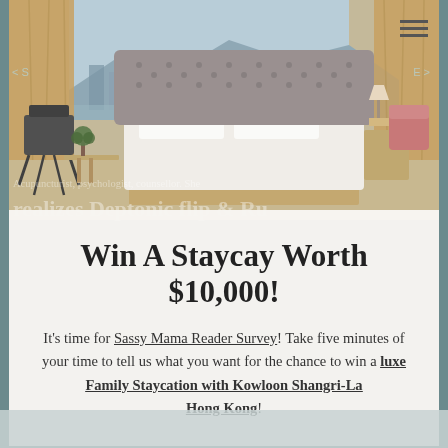[Figure (photo): Hotel room interior with large bed, floor-to-ceiling windows overlooking a waterfront cityscape, desk chair, and warm tones. Kowloon Shangri-La Hong Kong style room.]
Win A Staycay Worth $10,000!
It's time for Sassy Mama Reader Survey! Take five minutes of your time to tell us what you want for the chance to win a luxe Family Staycation with Kowloon Shangri-La Hong Kong!